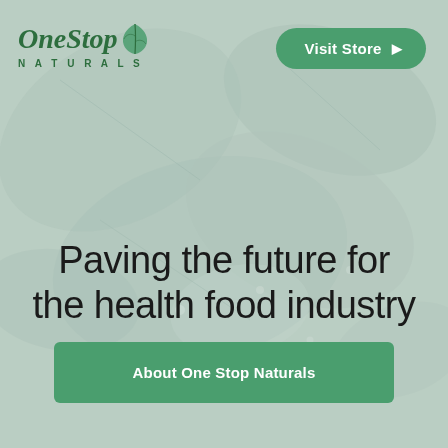[Figure (illustration): Background image of green leaves with water droplets, muted/faded green tones overlay]
One Stop Naturals
Visit Store ▶
Paving the future for the health food industry
About One Stop Naturals